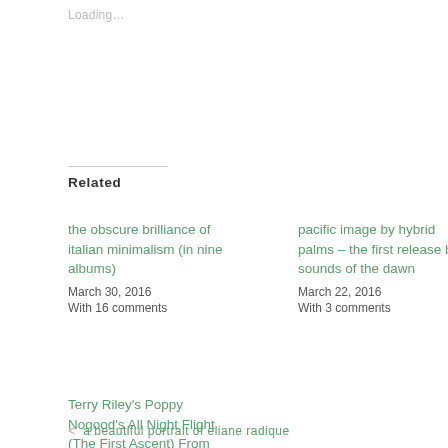Loading…
Related
the obscure brilliance of italian minimalism (in nine albums)
March 30, 2016
With 16 comments
pacific image by hybrid palms – the first release by sounds of the dawn
March 22, 2016
With 3 comments
Terry Riley's Poppy Nogood's All Night Flight (The First Ascent) From S.M.S. #3
February 25, 2016
With 2 comments
< a beautiful portrait of eliane radique